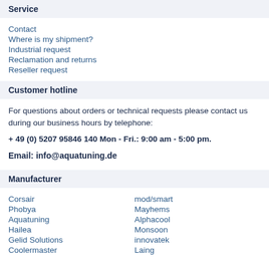Service
Contact
Where is my shipment?
Industrial request
Reclamation and returns
Reseller request
Customer hotline
For questions about orders or technical requests please contact us during our business hours by telephone:
+ 49 (0) 5207 95846 140 Mon - Fri.: 9:00 am - 5:00 pm.
Email: info@aquatuning.de
Manufacturer
Corsair
Phobya
Aquatuning
Hailea
Gelid Solutions
Coolermaster
mod/smart
Mayhems
Alphacool
Monsoon
innovatek
Laing